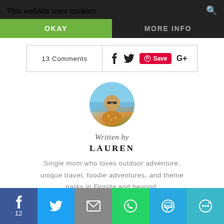This website uses cookies
OKAY
MORE INFO
13 Comments
[Figure (screenshot): Social sharing icons: Facebook, Twitter, Pinterest Save button (red), Google+]
[Figure (photo): Circular profile photo of Lauren, a woman outdoors near water]
Written by
LAUREN
Single mom who loves outdoor adventure, unique travel, foodie adventures, and theme parks in Florida and beyond.
[Figure (screenshot): Bottom share bar with Facebook (12), Twitter, Email, WhatsApp, SMS, and more sharing icons]